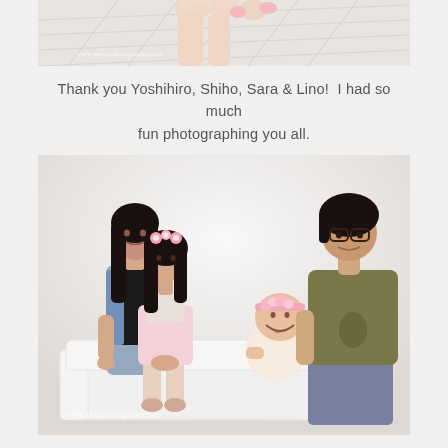[Figure (photo): Partial photo showing baby feet and legs on a white wooden floor, with watermark www.amypphotography.com]
Thank you Yoshihiro, Shiho, Sara & Lino!  I had so much fun photographing you all.
[Figure (photo): Family portrait studio photo showing a mother with long black hair, a young girl wearing a pink flower crown, a smiling baby in a floral headband, and a father with glasses wearing an olive t-shirt, all seated on a white sofa against a white background. Watermark: www.amypphotography.com]